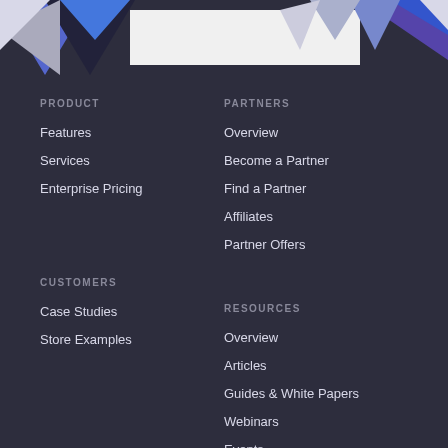[Figure (illustration): Decorative geometric/triangular pattern header banner with blue, white, gray, and dark purple triangle shapes on a dark background]
PRODUCT
Features
Services
Enterprise Pricing
PARTNERS
Overview
Become a Partner
Find a Partner
Affiliates
Partner Offers
CUSTOMERS
Case Studies
Store Examples
RESOURCES
Overview
Articles
Guides & White Papers
Webinars
Events
Ecommerce Blog